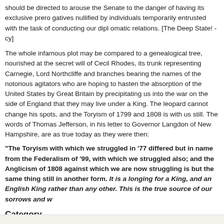should be directed to arouse the Senate to the danger of having its exclusive prerogatives nullified by individuals temporarily entrusted with the task of conducting our diplomatic relations. [The Deep State! -cy]
The whole infamous plot may be compared to a genealogical tree, nourished at the secret will of Cecil Rhodes, its trunk representing Carnegie, Lord Northcliffe and branches bearing the names of the notorious agitators who are hoping to hasten the absorption of the United States by Great Britain by precipitating us into the war on the side of England that they may live under a King. The leopard cannot change his spots, and the Toryism of 1799 and 1808 is with us still. The words of Thomas Jefferson, in his letter to Governor Langdon of New Hampshire, are as true today as they were then:
“The Toryism with which we struggled in ’77 differed but in name from the Federalism of ’99, with which we struggled also; and the Anglicism of 1808 against which we are now struggling is but the same thing still in another form. It is a longing for a King, and an English King rather than any other. This is the true source of our sorrows and w
Category
European History, Historical Revisionism, The Fatherland, World War 1
Bookmark/Search this post with
[Figure (infographic): Social media sharing icons: Facebook, Google, Google+, Reddit, Twitter]
Add new comment | 903 reads